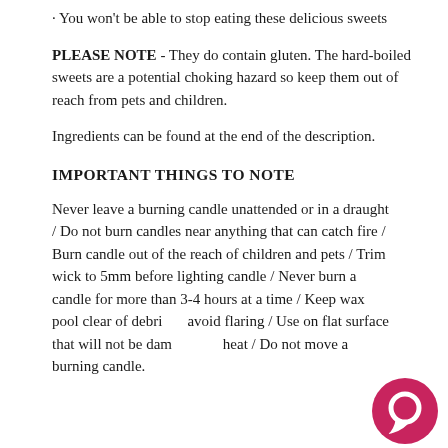· You won't be able to stop eating these delicious sweets
PLEASE NOTE - They do contain gluten. The hard-boiled sweets are a potential choking hazard so keep them out of reach from pets and children.
Ingredients can be found at the end of the description.
IMPORTANT THINGS TO NOTE
Never leave a burning candle unattended or in a draught / Do not burn candles near anything that can catch fire / Burn candle out of the reach of children and pets / Trim wick to 5mm before lighting candle / Never burn a candle for more than 3-4 hours at a time / Keep wax pool clear of debris to avoid flaring / Use on flat surface that will not be damaged by heat / Do not move a burning candle.